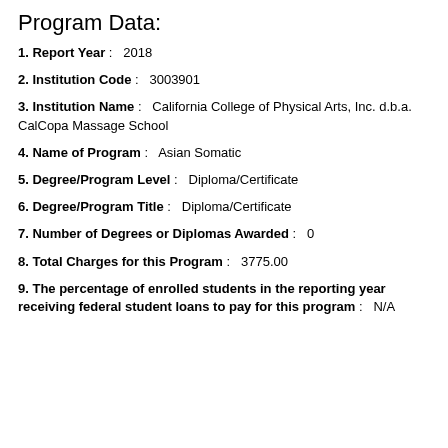Program Data:
1. Report Year: 2018
2. Institution Code: 3003901
3. Institution Name: California College of Physical Arts, Inc. d.b.a. CalCopa Massage School
4. Name of Program: Asian Somatic
5. Degree/Program Level: Diploma/Certificate
6. Degree/Program Title: Diploma/Certificate
7. Number of Degrees or Diplomas Awarded: 0
8. Total Charges for this Program: 3775.00
9. The percentage of enrolled students in the reporting year receiving federal student loans to pay for this program: N/A